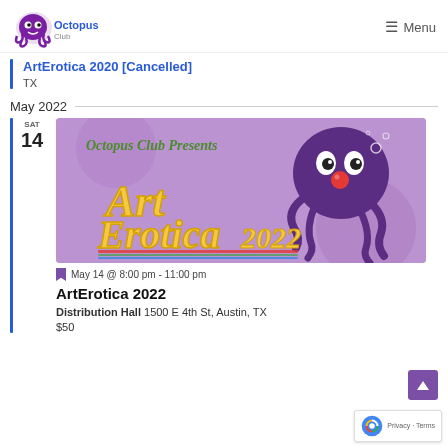Octopus Club | Menu
ArtErotica 2020 [Cancelled]
TX
May 2022
[Figure (illustration): ArtErotica 2022 event banner with purple octopus cartoon character and stylized text reading 'ArtErotica 2022', purple background. Header text: 'Octopus Club Presents'.]
May 14 @ 8:00 pm - 11:00 pm
ArtErotica 2022
Distribution Hall 1500 E 4th St, Austin, TX
$50